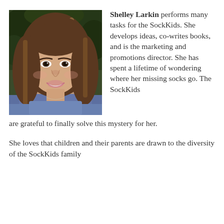[Figure (photo): Headshot of Shelley Larkin, a woman with long brown and blonde highlighted hair, smiling, wearing a blue top, with green foliage in the background.]
Shelley Larkin performs many tasks for the SockKids. She develops ideas, co-writes books, and is the marketing and promotions director. She has spent a lifetime of wondering where her missing socks go. The SockKids are grateful to finally solve this mystery for her.
She loves that children and their parents are drawn to the diversity of the SockKids family